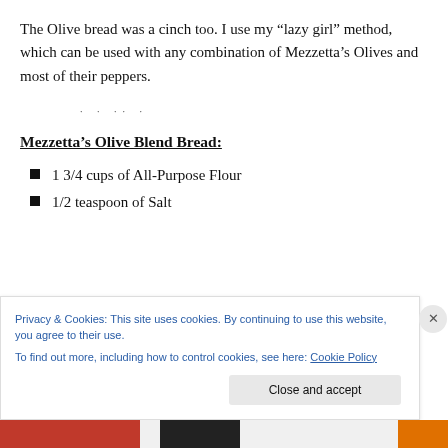The Olive bread was a cinch too. I use my “lazy girl” method, which can be used with any combination of Mezzetta’s Olives and most of their peppers.
Mezzetta’s Olive Blend Bread:
1 3/4 cups of All-Purpose Flour
1/2 teaspoon of Salt
Privacy & Cookies: This site uses cookies. By continuing to use this website, you agree to their use.
To find out more, including how to control cookies, see here: Cookie Policy